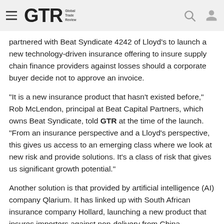GTR Global Trade Review
partnered with Beat Syndicate 4242 of Lloyd's to launch a new technology-driven insurance offering to insure supply chain finance providers against losses should a corporate buyer decide not to approve an invoice.
“It is a new insurance product that hasn’t existed before,” Rob McLendon, principal at Beat Capital Partners, which owns Beat Syndicate, told GTR at the time of the launch. “From an insurance perspective and a Lloyd’s perspective, this gives us access to an emerging class where we look at new risk and provide solutions. It’s a class of risk that gives us significant growth potential.”
Another solution is that provided by artificial intelligence (AI) company Qlarium. It has linked up with South African insurance company Hollard, launching a new product that insures importers against non-delivery from China.
“In trade with China, it’s very rare to get credit, so most of the importing companies are paying deposits,” says Yaron Shapira, CEO of Qlarium, adding that this leaves importers at